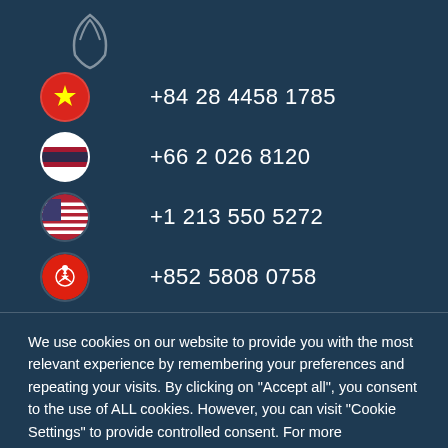[Figure (other): Partial logo image at top, showing lower portion of a white logo mark on dark blue background]
+84 28 4458 1785 (Vietnam)
+66 2 026 8120 (Thailand)
+1 213 550 5272 (USA)
+852 5808 0758 (Hong Kong)
We use cookies on our website to provide you with the most relevant experience by remembering your preferences and repeating your visits. By clicking on "Accept all", you consent to the use of ALL cookies. However, you can visit "Cookie Settings" to provide controlled consent. For more information, see the page Privacy Policy.